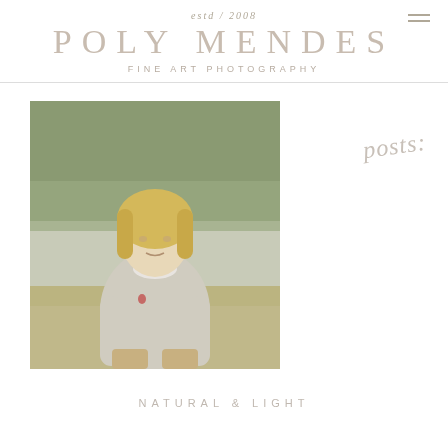estd / 2008
POLY MENDES
FINE ART PHOTOGRAPHY
[Figure (photo): Portrait of a blonde child in a light grey sweater and khaki pants standing outdoors on grass with green foliage in the background]
posts:
NATURAL & LIGHT